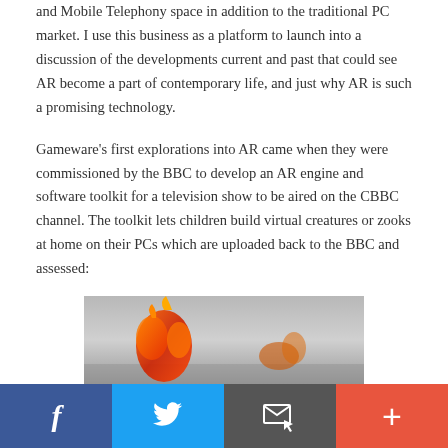and Mobile Telephony space in addition to the traditional PC market. I use this business as a platform to launch into a discussion of the developments current and past that could see AR become a part of contemporary life, and just why AR is such a promising technology.
Gameware's first explorations into AR came when they were commissioned by the BBC to develop an AR engine and software toolkit for a television show to be aired on the CBBC channel. The toolkit lets children build virtual creatures or zooks at home on their PCs which are uploaded back to the BBC and assessed:
[Figure (photo): Partial image of a virtual creature (zook) on a grey/blue background, only the top portion visible]